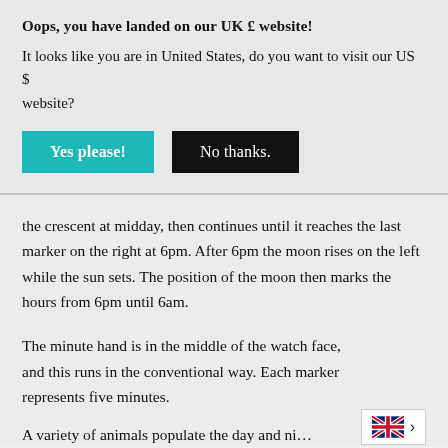Oops, you have landed on our UK £ website!
It looks like you are in United States, do you want to visit our US $ website?
Yes please!
No thanks.
the crescent at midday, then continues until it reaches the last marker on the right at 6pm. After 6pm the moon rises on the left while the sun sets. The position of the moon then marks the hours from 6pm until 6am.
The minute hand is in the middle of the watch face, and this runs in the conventional way. Each marker represents five minutes.
A variety of animals populate the day and ni…